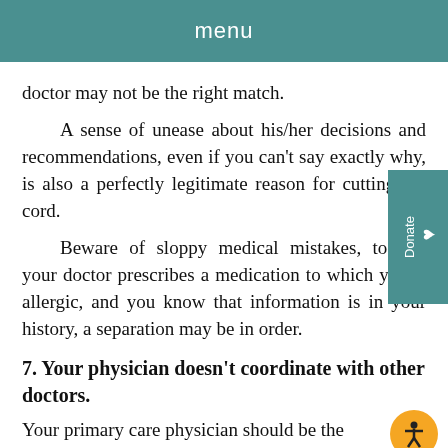menu
doctor may not be the right match.
A sense of unease about his/her decisions and recommendations, even if you can't say exactly why, is also a perfectly legitimate reason for cutting the cord.
Beware of sloppy medical mistakes, too: If your doctor prescribes a medication to which you're allergic, and you know that information is in your history, a separation may be in order.
7. Your physician doesn't coordinate with other doctors.
Your primary care physician should be the